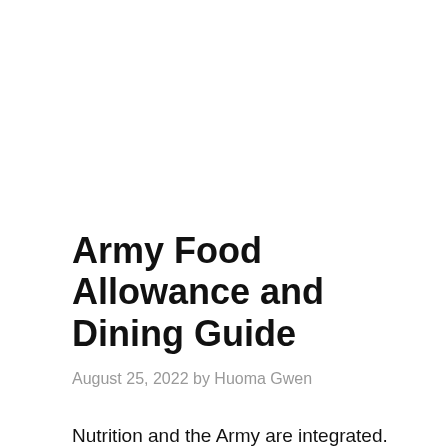Army Food Allowance and Dining Guide
August 25, 2022 by Huoma Gwen
Nutrition and the Army are integrated. Without regular access to food and water, no army can hope for, or expect, victory in its all-important